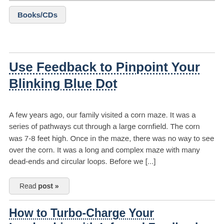Books/CDs
Use Feedback to Pinpoint Your Blinking Blue Dot
A few years ago, our family visited a corn maze. It was a series of pathways cut through a large cornfield. The corn was 7-8 feet high. Once in the maze, there was no way to see over the corn. It was a long and complex maze with many dead-ends and circular loops. Before we [...]
Read post »
How to Turbo-Charge Your Leadership with Informal Feedback
One of our most recent popular blogs was on bully bosses and